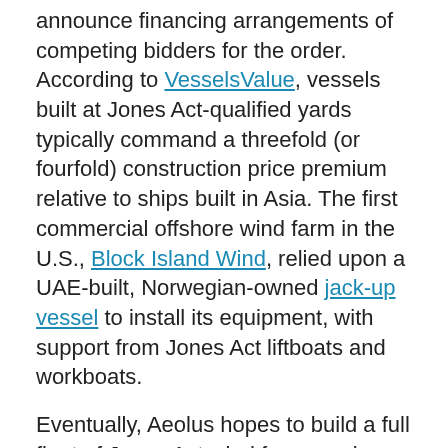announce financing arrangements of competing bidders for the order. According to VesselsValue, vessels built at Jones Act-qualified yards typically command a threefold (or fourfold) construction price premium relative to ships built in Asia. The first commercial offshore wind farm in the U.S., Block Island Wind, relied upon a UAE-built, Norwegian-owned jack-up vessel to install its equipment, with support from Jones Act liftboats and workboats.
Eventually, Aeolus hopes to build a full fleet of Jones Act wind farm service vessels, including cable ships, crew transfer vessels and hotel ships to serve wind projects from installation through decommissioning. “The design and ultimate construction of these vessels will result in significant job creation and is a demonstration of confidence in the American shipbuilding industry,” said Elia Golfin, Aeolus’ CEO. "We look forward to pushing the envelope in the offshore wind industry where Jones Act-compliant vessels are concerned."